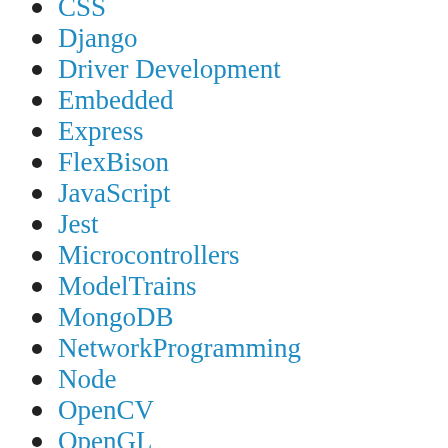CSS
Django
Driver Development
Embedded
Express
FlexBison
JavaScript
Jest
Microcontrollers
ModelTrains
MongoDB
NetworkProgramming
Node
OpenCV
OpenGL
OperatingSystems